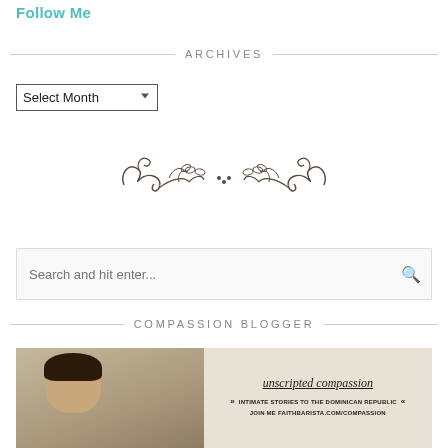Follow Me
ARCHIVES
Select Month
[Figure (illustration): Decorative floral/scroll ornament divider]
Search and hit enter...
COMPASSION BLOGGER
[Figure (photo): Compassion blogger image showing a person and text: unscripted compassion, INTIMATE STORIES TO THE DOMINICAN REPUBLIC, JOIN ME FAITHBARISTA.COM/COMPASSION]